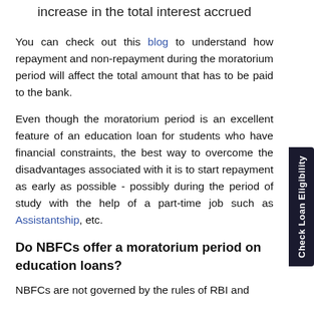increase in the total interest accrued
You can check out this blog to understand how repayment and non-repayment during the moratorium period will affect the total amount that has to be paid to the bank.
Even though the moratorium period is an excellent feature of an education loan for students who have financial constraints, the best way to overcome the disadvantages associated with it is to start repayment as early as possible - possibly during the period of study with the help of a part-time job such as Assistantship, etc.
Do NBFCs offer a moratorium period on education loans?
NBFCs are not governed by the rules of RBI and